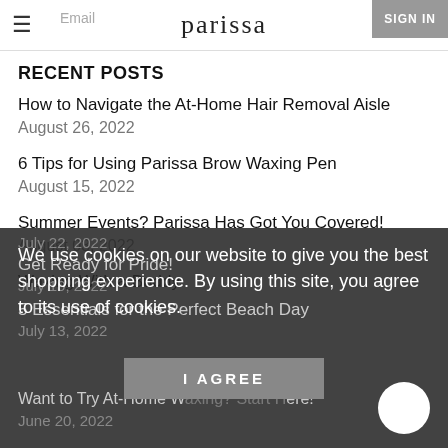parissa
RECENT POSTS
How to Navigate the At-Home Hair Removal Aisle
August 26, 2022
6 Tips for Using Parissa Brow Waxing Pen
August 15, 2022
Summer Events? Parissa Has Got You Covered!
August 03, 2022
Waxing With a Buddy
July 22, 2022
Get Ready for Pride!
July 19, 2022
5 Essentials for the Perfect Beach Day
July 13, 2022
Want to Try At-Home Waxing? Start Here!
June 20, 2022
We use cookies on our website to give you the best shopping experience. By using this site, you agree to its use of cookies.